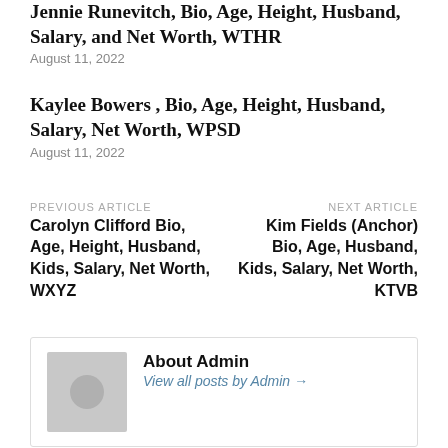Jennie Runevitch, Bio, Age, Height, Husband, Salary, and Net Worth, WTHR
August 11, 2022
Kaylee Bowers , Bio, Age, Height, Husband, Salary, Net Worth, WPSD
August 11, 2022
PREVIOUS ARTICLE
Carolyn Clifford Bio, Age, Height, Husband, Kids, Salary, Net Worth, WXYZ
NEXT ARTICLE
Kim Fields (Anchor) Bio, Age, Husband, Kids, Salary, Net Worth, KTVB
About Admin
View all posts by Admin →